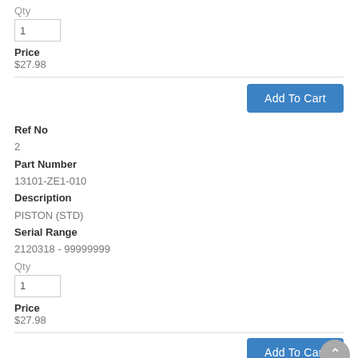Qty
1
Price
$27.98
Add To Cart
Ref No
2
Part Number
13101-ZE1-010
Description
PISTON (STD)
Serial Range
2120318 - 99999999
Qty
1
Price
$27.98
Add To Cart